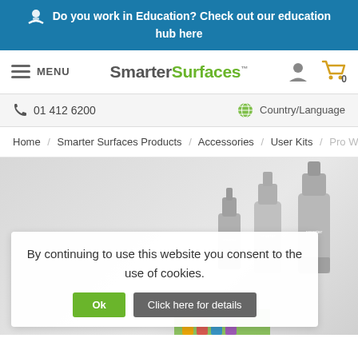Do you work in Education? Check out our education hub here
[Figure (screenshot): SmarterSurfaces website navigation bar with logo, menu, user icon, and cart showing 0 items]
01 412 6200
Country/Language
Home / Smarter Surfaces Products / Accessories / User Kits / Pro Whiteboar
[Figure (photo): Product photo showing whiteboard spray bottles on grey background with cookie consent overlay. Cookie notice reads: By continuing to use this website you consent to the use of cookies. With Ok and Click here for details buttons.]
By continuing to use this website you consent to the use of cookies.